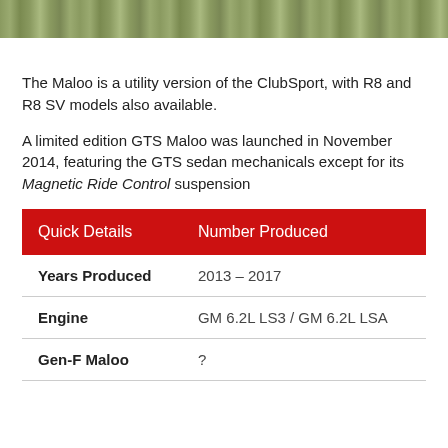[Figure (photo): Partial photo of grass/field surface, cropped strip at top of page]
The Maloo is a utility version of the ClubSport, with R8 and R8 SV models also available.
A limited edition GTS Maloo was launched in November 2014, featuring the GTS sedan mechanicals except for its Magnetic Ride Control suspension
| Quick Details | Number Produced |
| --- | --- |
| Years Produced | 2013 – 2017 |
| Engine | GM 6.2L LS3 / GM 6.2L LSA |
| Gen-F Maloo | ? |